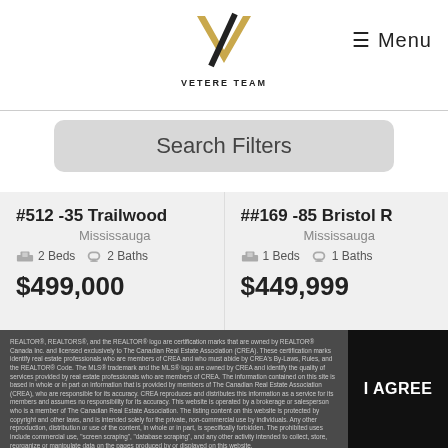VETERE TEAM — Menu
Search Filters
#512 -35 Trailwood, Mississauga, 2 Beds, 2 Baths, $499,000
##169 -85 Bristol R, Mississauga, 1 Beds, 1 Baths, $449,999
REALTOR®, REALTORS®, and the REALTOR® logo are certification marks that are owned by REALTOR® Canada Inc. and licensed exclusively to The Canadian Real Estate Association (CREA). These certification marks identify real estate professionals who are members of CREA and who must abide by CREA's By-Laws, Rules, and the REALTOR® Code. The MLS® trademark and the MLS® logo are owned by CREA and identify the quality of services provided by real estate professionals who are members of CREA. The information contained on this site is based in whole or in part on information that is provided by members of The Canadian Real Estate Association (CREA), who are responsible for its accuracy. CREA reproduces and distributes this information as a service for its members and assumes no responsibility for its accuracy. This website is operated by a brokerage or salesperson who is a member of The Canadian Real Estate Association. The listing content on this website is protected by copyright and other laws, and is intended solely for the private, non-commercial use by individuals. Any other reproduction, distribution or use of the content, in whole or in part, is specifically forbidden. The prohibited uses include commercial use, "screen scraping", "database scraping", and any other activity intended to collect, store, reorganize or manipulate data on the pages produced by or displayed on this website.
I AGREE